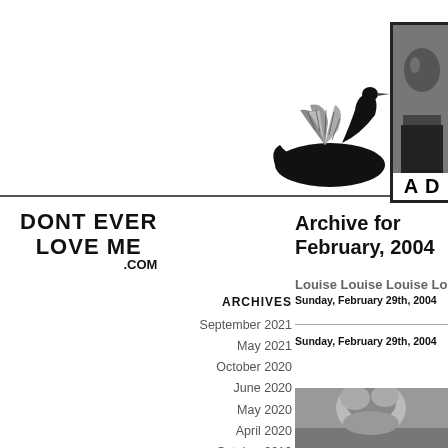[Figure (illustration): Black stylized swan logo with spread wings]
[Figure (photo): Black and white portrait photo of a man in a bordered box with text 'A D' at bottom]
[Figure (logo): DONT EVER LOVE ME .COM text logo in bold black uppercase]
ARCHIVES
September 2021
May 2021
October 2020
June 2020
May 2020
April 2020
October 2019
Archive for February, 2004
Louise Louise Louise Louise Louise
Sunday, February 29th, 2004
Sunday, February 29th, 2004
[Figure (photo): Black and white photo showing a person's face, cropped at bottom of page]